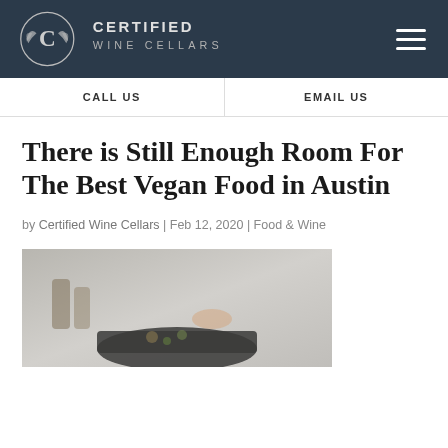Certified Wine Cellars
CALL US | EMAIL US
There is Still Enough Room For The Best Vegan Food in Austin
by Certified Wine Cellars | Feb 12, 2020 | Food & Wine
[Figure (photo): Photo of a person cooking vegan food, viewed from above, with ingredients and a dark pan visible]